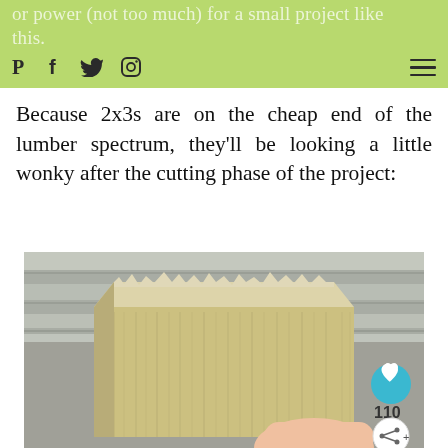or power (not too much) for a small project like this.
Because 2x3s are on the cheap end of the lumber spectrum, they'll be looking a little wonky after the cutting phase of the project:
[Figure (photo): A hand holding a piece of cut 2x3 lumber showing a rough, splintered cut end, photographed against a concrete background. There are social interaction buttons visible: a heart/like button (teal circle), a count of 110, and a share button.]